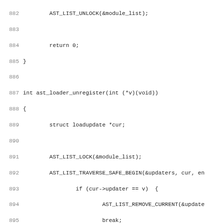[Figure (screenshot): Source code listing in monospace font showing C code lines 882-914, including functions ast_loader_unregister, ast_module_ref, and beginning of ast_module_unref]